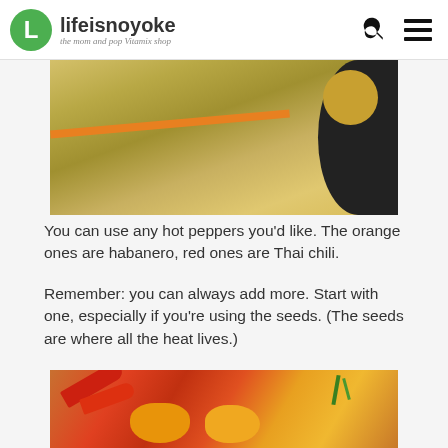lifeisnoyoke — the mom and pop Vitamix shop
[Figure (photo): Close-up photo of a sliced green/yellow melon on a dark plate with a cut piece visible on the right side.]
You can use any hot peppers you'd like. The orange ones are habanero, red ones are Thai chili.
Remember: you can always add more. Start with one, especially if you're using the seeds. (The seeds are where all the heat lives.)
[Figure (photo): Photo of a hand holding red Thai chili peppers and orange habanero peppers with green stems.]